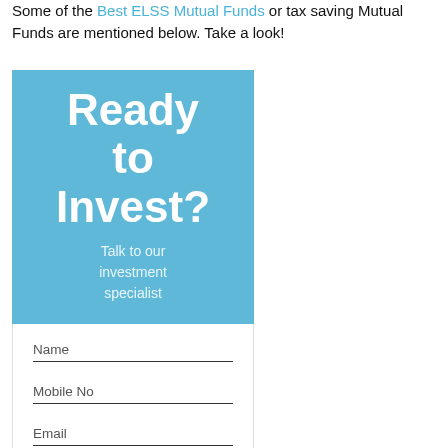Some of the Best ELSS Mutual Funds or tax saving Mutual Funds are mentioned below. Take a look!
[Figure (infographic): Blue widget box with 'Ready to Invest?' header and a contact form with Name, Mobile No, Email fields and a disclaimer]
Name
Mobile No
Email
Disclaimer: By submitting this form I authorize Fincash.com to call/SMS/email me about its products and I accept the